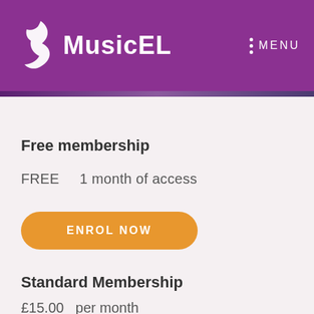MusicEL  MENU
Free membership
FREE    1 month of access
ENROL NOW
Standard Membership
£15.00  per month